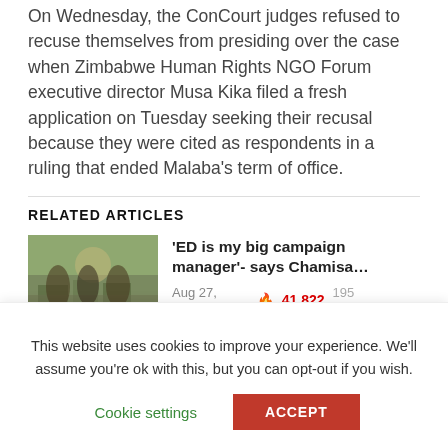On Wednesday, the ConCourt judges refused to recuse themselves from presiding over the case when Zimbabwe Human Rights NGO Forum executive director Musa Kika filed a fresh application on Tuesday seeking their recusal because they were cited as respondents in a ruling that ended Malaba's term of office.
RELATED ARTICLES
[Figure (photo): Thumbnail photo for related article showing a group of people outdoors]
'ED is my big campaign manager'- says Chamisa... Aug 27, 2022  41,822  195 Comments
This website uses cookies to improve your experience. We'll assume you're ok with this, but you can opt-out if you wish. Cookie settings ACCEPT